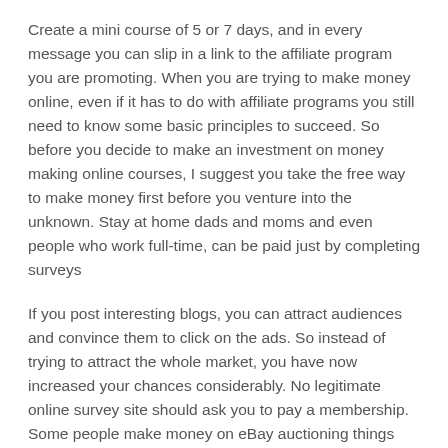Create a mini course of 5 or 7 days, and in every message you can slip in a link to the affiliate program you are promoting. When you are trying to make money online, even if it has to do with affiliate programs you still need to know some basic principles to succeed. So before you decide to make an investment on money making online courses, I suggest you take the free way to make money first before you venture into the unknown. Stay at home dads and moms and even people who work full-time, can be paid just by completing surveys
If you post interesting blogs, you can attract audiences and convince them to click on the ads. So instead of trying to attract the whole market, you have now increased your chances considerably. No legitimate online survey site should ask you to pay a membership. Some people make money on eBay auctioning things people are searching for right now allowing them to obtain online money on eBay?